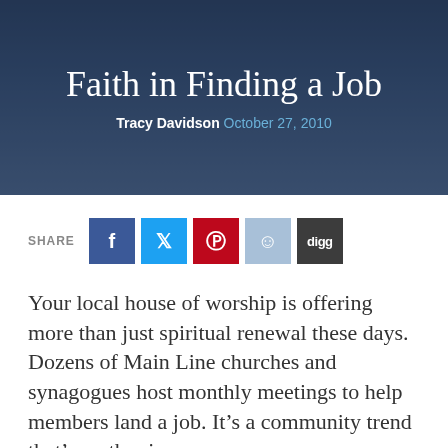Faith in Finding a Job
Tracy Davidson October 27, 2010
SHARE [Facebook] [Twitter] [Pinterest] [Reddit] [Digg]
Your local house of worship is offering more than just spiritual renewal these days. Dozens of Main Line churches and synagogues host monthly meetings to help members land a job. It's a community trend that's on the rise.
Joseph's People started in 2003 at Saint Joseph